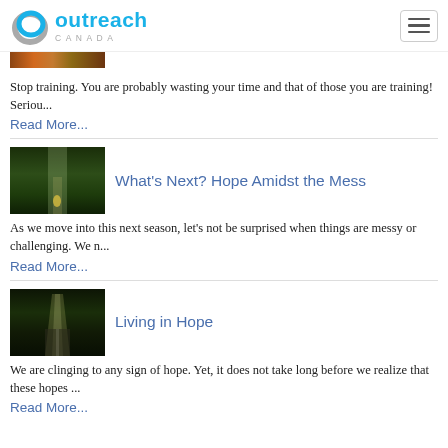Outreach Canada
[Figure (photo): Partially visible article thumbnail at top of page — brownish/orange tones]
Stop training.  You are probably wasting your time and that of those you are training!  Seriou...
Read More...
[Figure (photo): Forest path with person in yellow raincoat walking away from camera]
What's Next? Hope Amidst the Mess
As we move into this next season, let's not be surprised when things are messy or challenging. We n...
Read More...
[Figure (photo): Dark forest road with beam of light breaking through trees]
Living in Hope
We are clinging to any sign of hope. Yet, it does not take long before we realize that these hopes ...
Read More...